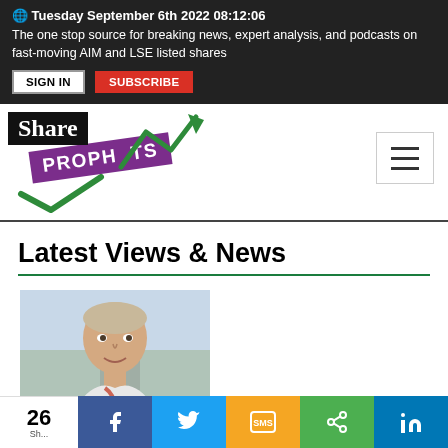Tuesday September 6th 2022 08:12:06 — The one stop source for breaking news, expert analysis, and podcasts on fast-moving AIM and LSE listed shares
[Figure (logo): ShareProphets logo with green arrow and checkmark]
Latest Views & News
[Figure (photo): Headshot of a middle-aged man outdoors, wearing a light jacket]
26 Shares